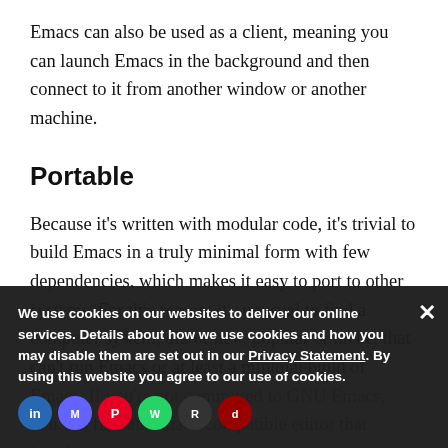Emacs can also be used as a client, meaning you can launch Emacs in the background and then connect to it from another window or another machine.
Portable
Because it's written with modular code, it's trivial to build Emacs in a truly minimal form with few dependencies, which makes it easy to port to other systems. For this reason, it's unusual to find a computer system, old or new, popular or niche, that can't run Emacs or at least a minimal build of Emacs. If you're not committed to GNU Emacs, you can find an Emacs-compatible editor that supports your preferred interface.
We use cookies on our websites to deliver our online services. Details about how we use cookies and how you may disable them are set out in our Privacy Statement. By using this website you agree to our use of cookies.